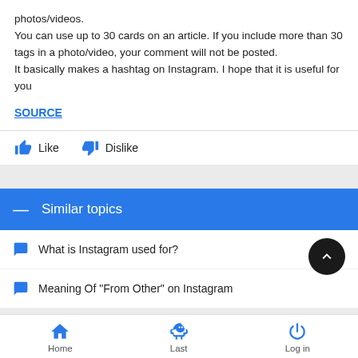photos/videos.
You can use up to 30 cards on an article. If you include more than 30 tags in a photo/video, your comment will not be posted.
It basically makes a hashtag on Instagram. I hope that it is useful for you
SOURCE
Like  Dislike
Similar topics
What is Instagram used for?
Meaning Of "From Other" on Instagram
Home  Last  Log in